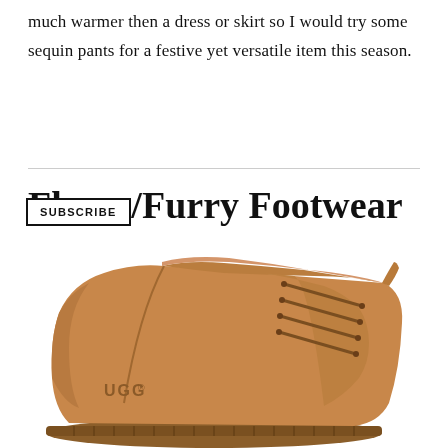much warmer then a dress or skirt so I would try some sequin pants for a festive yet versatile item this season.
Fleecy/Furry Footwear
[Figure (photo): UGG brand chukka boot in tan/chestnut suede with lace-up front, shearling lining, and rubber lug sole, shown on white background]